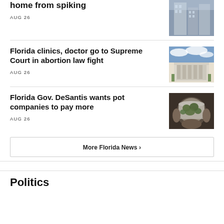home from spiking
AUG 26
[Figure (photo): City buildings viewed from below, tall skyscrapers]
Florida clinics, doctor go to Supreme Court in abortion law fight
AUG 26
[Figure (photo): White columned building resembling a courthouse with blue sky and clouds]
Florida Gov. DeSantis wants pot companies to pay more
AUG 26
[Figure (photo): Hand holding a clear container with marijuana buds]
More Florida News ›
Politics